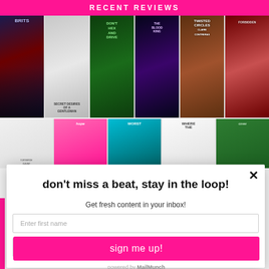RECENT REVIEWS
[Figure (photo): Grid of book cover thumbnails for recent reviews including titles: Brits, Secret Desires of a Gentleman, Don't Hex and Drive, The Blood King, Twisted Circles by Claire Contreras, Forbidden, and a second row with partially visible covers]
don't miss a beat, stay in the loop!
Get fresh content in your inbox!
Enter first name
Enter your email
sign me up!
powered by MailMunch